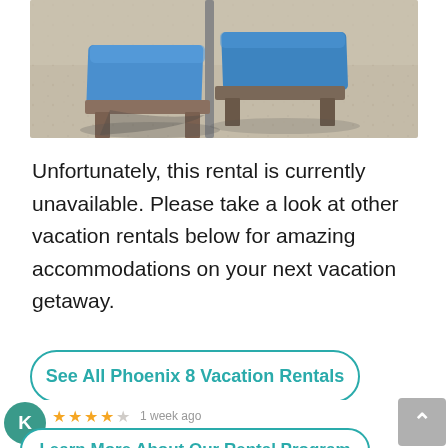[Figure (photo): Beach photo showing two blue lounge chairs on sandy beach with umbrella pole, viewed from close-up angle]
Unfortunately, this rental is currently unavailable. Please take a look at other vacation rentals below for amazing accommodations on your next vacation getaway.
See All Phoenix 8 Vacation Rentals
5.0 star rating by Kritta Wise
Learn More About Our Rental Program